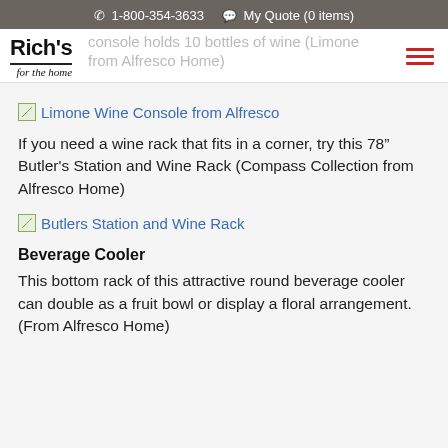1-800-354-3633   My Quote (0 items)
[Figure (logo): Rich's for the home logo with underline]
console holds 10 bottles of wine (Limone from Alfresco Home)
[Figure (photo): Limone Wine Console from Alfresco thumbnail image link]
Limone Wine Console from Alfresco
If you need a wine rack that fits in a corner, try this 78" Butler's Station and Wine Rack (Compass Collection from Alfresco Home)
[Figure (photo): Butlers Station and Wine Rack thumbnail image link]
Butlers Station and Wine Rack
Beverage Cooler
This bottom rack of this attractive round beverage cooler can double as a fruit bowl or display a floral arrangement. (From Alfresco Home)